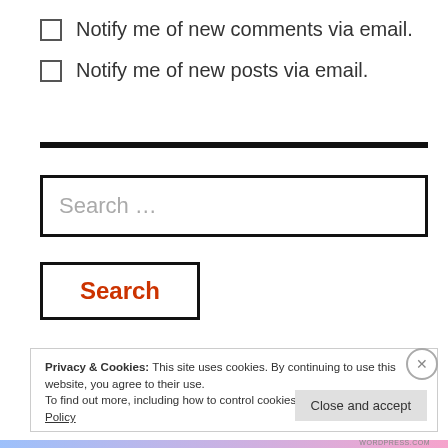Notify me of new comments via email.
Notify me of new posts via email.
Search ...
Search
Privacy & Cookies: This site uses cookies. By continuing to use this website, you agree to their use. To find out more, including how to control cookies, see here: Cookie Policy
Close and accept